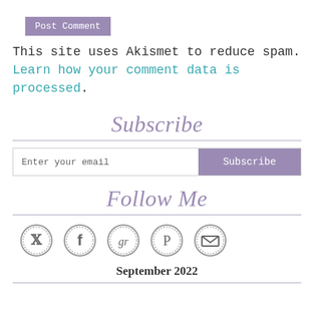[Figure (screenshot): Purple 'Post Comment' button]
This site uses Akismet to reduce spam. Learn how your comment data is processed.
Subscribe
[Figure (screenshot): Email input field with 'Enter your email' placeholder and purple 'Subscribe' button]
Follow Me
[Figure (infographic): Row of 5 circular social media icons: Twitter, Facebook, Goodreads, Pinterest, Email]
September 2022